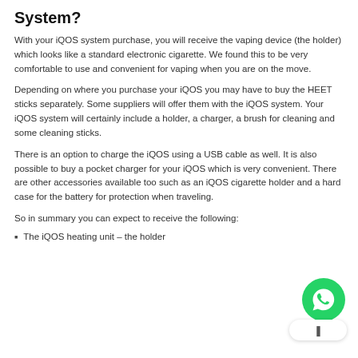System?
With your iQOS system purchase, you will receive the vaping device (the holder) which looks like a standard electronic cigarette. We found this to be very comfortable to use and convenient for vaping when you are on the move.
Depending on where you purchase your iQOS you may have to buy the HEET sticks separately. Some suppliers will offer them with the iQOS system. Your iQOS system will certainly include a holder, a charger, a brush for cleaning and some cleaning sticks.
There is an option to charge the iQOS using a USB cable as well. It is also possible to buy a pocket charger for your iQOS which is very convenient. There are other accessories available too such as an iQOS cigarette holder and a hard case for the battery for protection when traveling.
So in summary you can expect to receive the following:
The iQOS heating unit – the holder